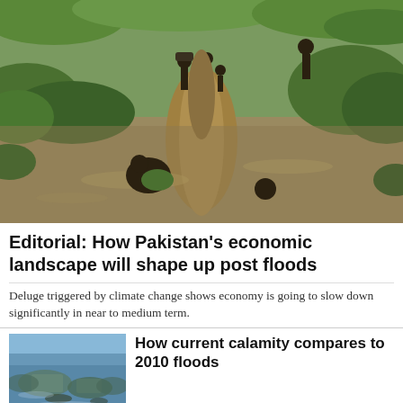[Figure (photo): Aerial/ground-level photo of flood waters in Pakistan. People wading through brown floodwater across a narrow strip of land with green vegetation. Muddy water surrounds them on both sides. People visible carrying items and submerged to waist level.]
Editorial: How Pakistan's economic landscape will shape up post floods
Deluge triggered by climate change shows economy is going to slow down significantly in near to medium term.
[Figure (photo): Aerial photo of flooded area showing structures and boats partially submerged in floodwaters, with small clusters of people or objects visible.]
How current calamity compares to 2010 floods